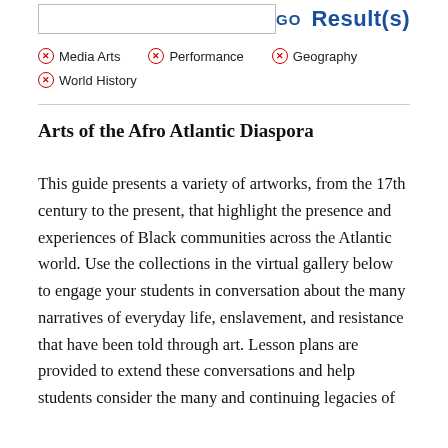⊗ Media Arts
⊗ Performance
⊗ Geography
⊗ World History
Arts of the Afro Atlantic Diaspora
This guide presents a variety of artworks, from the 17th century to the present, that highlight the presence and experiences of Black communities across the Atlantic world. Use the collections in the virtual gallery below to engage your students in conversation about the many narratives of everyday life, enslavement, and resistance that have been told through art. Lesson plans are provided to extend these conversations and help students consider the many and continuing legacies of